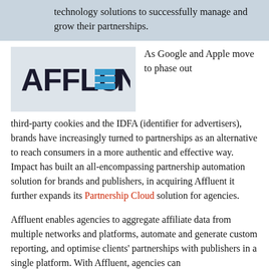technology solutions to successfully manage and grow their partnerships.
[Figure (logo): Affluent logo — bold dark letters with a blue rectangle replacing the 'E' in AFFLUENT]
As Google and Apple move to phase out third-party cookies and the IDFA (identifier for advertisers), brands have increasingly turned to partnerships as an alternative to reach consumers in a more authentic and effective way. Impact has built an all-encompassing partnership automation solution for brands and publishers, in acquiring Affluent it further expands its Partnership Cloud solution for agencies.
Affluent enables agencies to aggregate affiliate data from multiple networks and platforms, automate and generate custom reporting, and optimise clients' partnerships with publishers in a single platform. With Affluent, agencies can